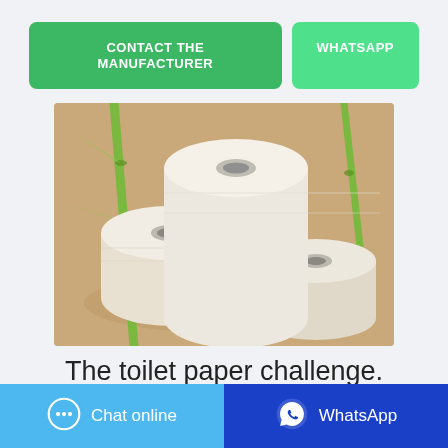[Figure (other): Two green buttons: 'CONTACT THE MANUFACTURER' (dark green, wide) and 'WHATSAPP' (light green, narrow)]
[Figure (photo): Product photo: three rolls of white toilet paper arranged together with green bamboo stems on a beige background]
The toilet paper challenge.
[Figure (other): Bottom bar with two buttons: 'Chat online' (light blue, with chat bubble icon) and 'WhatsApp' (dark blue, with WhatsApp logo icon)]